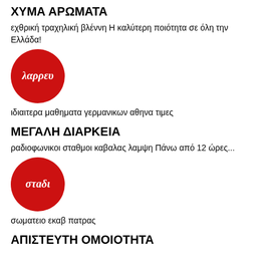ΧΥΜΑ ΑΡΩΜΑΤΑ
εχθρική τραχηλική βλέννη Η καλύτερη ποιότητα σε όλη την Ελλάδα!
[Figure (logo): Red circle logo with white italic Greek text 'λαρρευ']
ιδιαιτερα μαθηματα γερμανικων αθηνα τιμες
ΜΕΓΑΛΗ ΔΙΑΡΚΕΙΑ
ραδιοφωνικοι σταθμοι καβαλας λαμψη Πάνω από 12 ώρες...
[Figure (logo): Red circle logo with white italic Greek text 'στaδι']
σωματειο εκαβ πατρας
ΑΠΙΣΤΕΥΤΗ ΟΜΟΙΟΤΗΤΑ